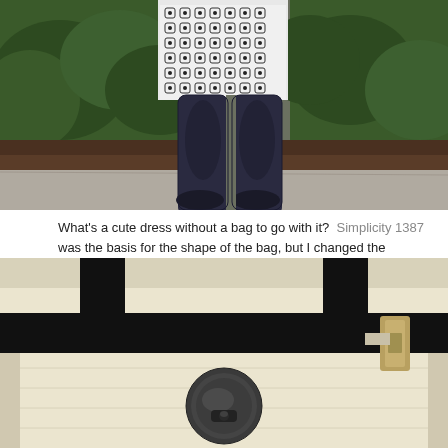[Figure (photo): Photo of a person's legs from mid-thigh down, wearing a black and white geometric patterned dress/skirt and dark navy/black opaque tights with dark shoes. Background shows green shrubs and a concrete sidewalk.]
What's a cute dress without a bag to go with it?  Simplicity 1387 was the basis for the shape of the bag, but I changed the handles, closure, hardware and lining to get the bag that I wanted.
[Figure (photo): Close-up photo of a cream/off-white canvas bag with wide black fabric straps and a large dark grey/black circular turn-lock closure button in the center. A gold-tone buckle hardware is visible on the right side.]